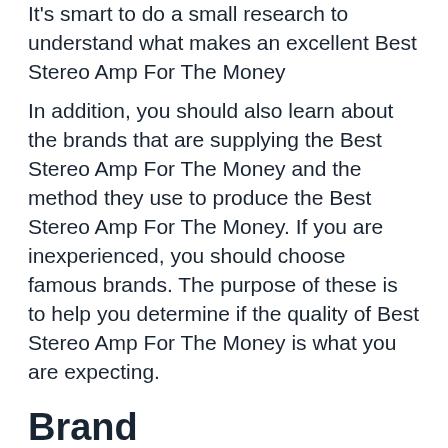It's smart to do a small research to understand what makes an excellent Best Stereo Amp For The Money
In addition, you should also learn about the brands that are supplying the Best Stereo Amp For The Money and the method they use to produce the Best Stereo Amp For The Money. If you are inexperienced, you should choose famous brands. The purpose of these is to help you determine if the quality of Best Stereo Amp For The Money is what you are expecting.
Brand
As mentioned above, If you are inexperienced in shopping, you should consider products from famous brands. It is how you avoid any risk to the quality of your product. You can also enjoy excellent after-sales services when you buy Best Stereo Amp For The Money from these brands.